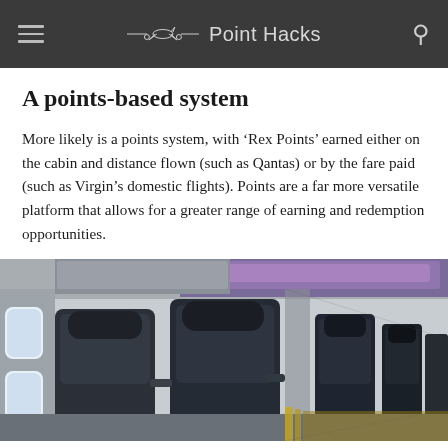Point Hacks
A points-based system
More likely is a points system, with ‘Rex Points’ earned either on the cabin and distance flown (such as Qantas) or by the fare paid (such as Virgin’s domestic flights). Points are a far more versatile platform that allows for a greater range of earning and redemption opportunities.
[Figure (photo): Interior of an airplane cabin showing dark leather business class seats with purple overhead bin lighting and rows of seats extending toward the back of the plane.]